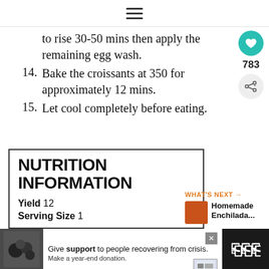≡
to rise 30-50 mins then apply the remaining egg wash.
14. Bake the croissants at 350 for approximately 12 mins.
15. Let cool completely before eating.
NUTRITION INFORMATION
Yield 12
Serving Size 1
WHAT'S NEXT → Homemade Enchilada...
783
Give support to people recovering from crisis. Make a year-end donation.